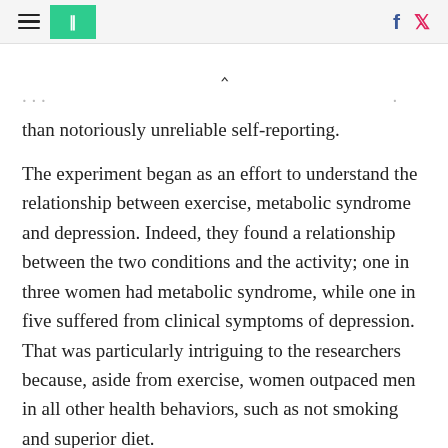≡ | f 🐦
… than notoriously unreliable self-reporting.
The experiment began as an effort to understand the relationship between exercise, metabolic syndrome and depression. Indeed, they found a relationship between the two conditions and the activity; one in three women had metabolic syndrome, while one in five suffered from clinical symptoms of depression. That was particularly intriguing to the researchers because, aside from exercise, women outpaced men in all other health behaviors, such as not smoking and superior diet.